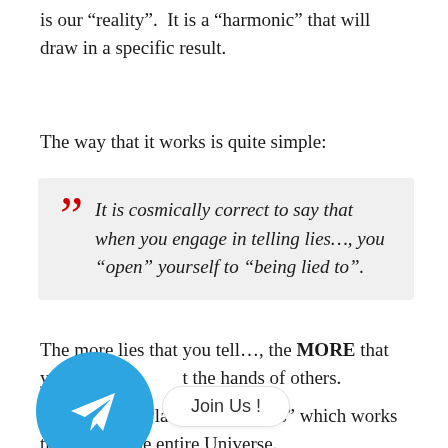is our “reality”.  It is a “harmonic” that will draw in a specific result.
The way that it works is quite simple:
It is cosmically correct to say that when you engage in telling lies…, you “open” yourself to “being lied to”.
The more lies that you tell…, the MORE that you will be [obscured] at the hands of others.
[Figure (other): Telegram app icon (blue circle with white paper plane arrow) with a 'Join Us!' button overlay]
T[obscured]icol “law of harmonics” which works throughout the entire Universe.